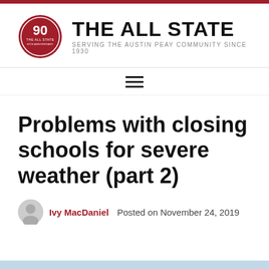THE ALL STATE — SERVING THE AUSTIN PEAY COMMUNITY SINCE 1930
Problems with closing schools for severe weather (part 2)
Ivy MacDaniel   Posted on November 24, 2019